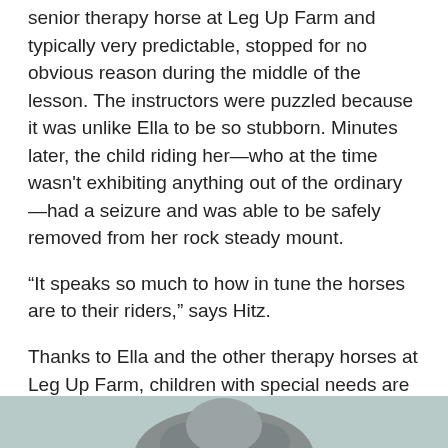senior therapy horse at Leg Up Farm and typically very predictable, stopped for no obvious reason during the middle of the lesson. The instructors were puzzled because it was unlike Ella to be so stubborn. Minutes later, the child riding her—who at the time wasn't exhibiting anything out of the ordinary—had a seizure and was able to be safely removed from her rock steady mount.
“It speaks so much to how in tune the horses are to their riders,” says Hitz.
Thanks to Ella and the other therapy horses at Leg Up Farm, children with special needs are able to surmount challenges with dirt on their boots, hay in their hair and smiles on their faces. Leg Up Farm doesn’t feel like a medical facility. And that’s the whole point.
[Figure (photo): Partial view of a horse, bottom portion of image, gray/dark tones, cropped at bottom of page.]